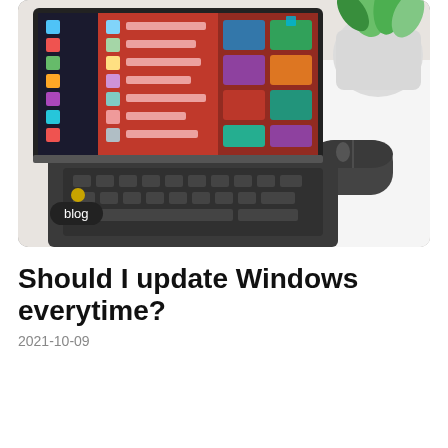[Figure (photo): A laptop with Windows Start menu open on screen, with a dark mouse to the right and a white pot plant with green leaves in the background on a white desk surface. A 'blog' badge label is overlaid in the bottom-left of the image.]
Should I update Windows everytime?
2021-10-09